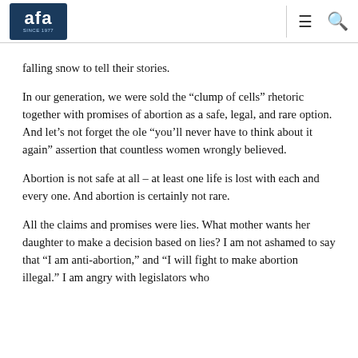AFA (logo) since 1977
falling snow to tell their stories.
In our generation, we were sold the “clump of cells” rhetoric together with promises of abortion as a safe, legal, and rare option. And let’s not forget the ole “you’ll never have to think about it again” assertion that countless women wrongly believed.
Abortion is not safe at all – at least one life is lost with each and every one. And abortion is certainly not rare.
All the claims and promises were lies. What mother wants her daughter to make a decision based on lies? I am not ashamed to say that “I am anti-abortion,” and “I will fight to make abortion illegal.” I am angry with legislators who